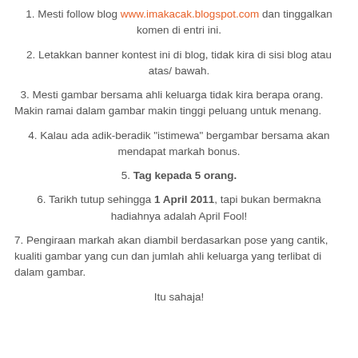1. Mesti follow blog www.imakacak.blogspot.com dan tinggalkan komen di entri ini.
2. Letakkan banner kontest ini di blog, tidak kira di sisi blog atau atas/ bawah.
3. Mesti gambar bersama ahli keluarga tidak kira berapa orang. Makin ramai dalam gambar makin tinggi peluang untuk menang.
4. Kalau ada adik-beradik "istimewa" bergambar bersama akan mendapat markah bonus.
5. Tag kepada 5 orang.
6. Tarikh tutup sehingga 1 April 2011, tapi bukan bermakna hadiahnya adalah April Fool!
7. Pengiraan markah akan diambil berdasarkan pose yang cantik, kualiti gambar yang cun dan jumlah ahli keluarga yang terlibat di dalam gambar.
Itu sahaja!